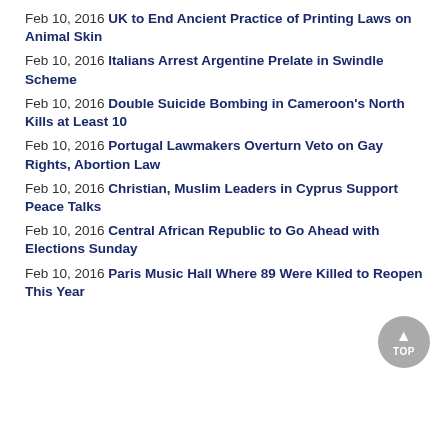Feb 10, 2016 UK to End Ancient Practice of Printing Laws on Animal Skin
Feb 10, 2016 Italians Arrest Argentine Prelate in Swindle Scheme
Feb 10, 2016 Double Suicide Bombing in Cameroon's North Kills at Least 10
Feb 10, 2016 Portugal Lawmakers Overturn Veto on Gay Rights, Abortion Law
Feb 10, 2016 Christian, Muslim Leaders in Cyprus Support Peace Talks
Feb 10, 2016 Central African Republic to Go Ahead with Elections Sunday
Feb 10, 2016 Paris Music Hall Where 89 Were Killed to Reopen This Year